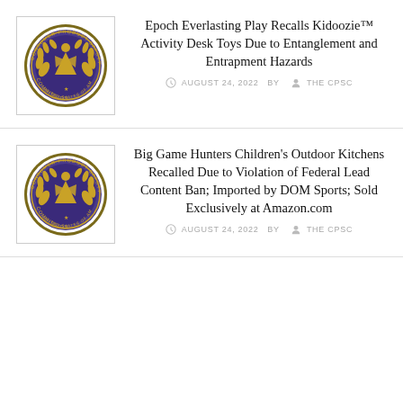[Figure (logo): CPSC Consumer Product Safety Commission seal/badge - circular purple and gold official emblem]
Epoch Everlasting Play Recalls Kidoozie™ Activity Desk Toys Due to Entanglement and Entrapment Hazards
AUGUST 24, 2022   BY   THE CPSC
[Figure (logo): CPSC Consumer Product Safety Commission seal/badge - circular purple and gold official emblem]
Big Game Hunters Children's Outdoor Kitchens Recalled Due to Violation of Federal Lead Content Ban; Imported by DOM Sports; Sold Exclusively at Amazon.com
AUGUST 24, 2022   BY   THE CPSC